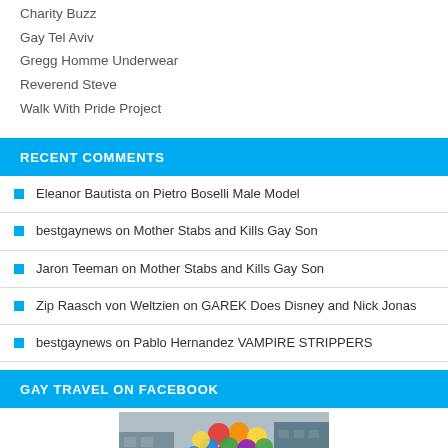Charity Buzz
Gay Tel Aviv
Gregg Homme Underwear
Reverend Steve
Walk With Pride Project
RECENT COMMENTS
Eleanor Bautista on Pietro Boselli Male Model
bestgaynews on Mother Stabs and Kills Gay Son
Jaron Teeman on Mother Stabs and Kills Gay Son
Zip Raasch von Weltzien on GAREK Does Disney and Nick Jonas
bestgaynews on Pablo Hernandez VAMPIRE STRIPPERS
GAY TRAVEL ON FACEBOOK
[Figure (photo): Two shirtless men at a pride parade with colorful balloons in background]